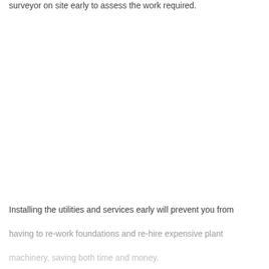surveyor on site early to assess the work required.
Installing the utilities and services early will prevent you from having to re-work foundations and re-hire expensive plant machinery, saving both time and money.